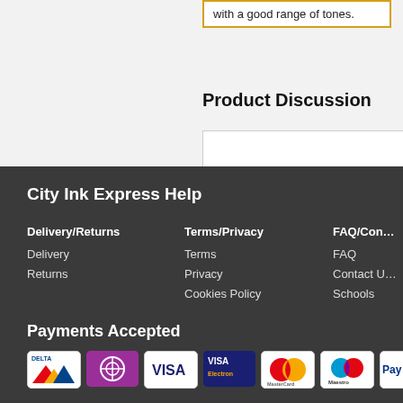with a good range of tones.
Product Discussion
City Ink Express Help
Delivery/Returns
Delivery
Returns
Terms/Privacy
Terms
Privacy
Cookies Policy
FAQ/Con…
FAQ
Contact U…
Schools
Payments Accepted
[Figure (logo): Payment method logos: Delta, Solo/Switch, Visa, Visa Electron, MasterCard, Maestro, PayPal (partially visible)]